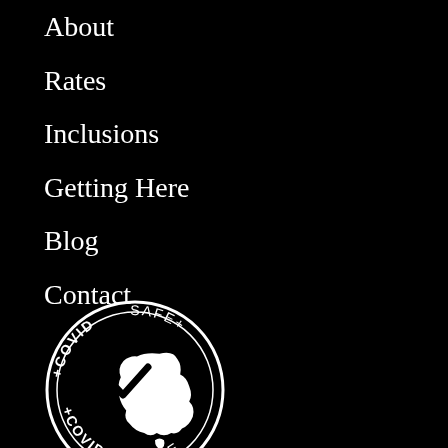About
Rates
Inclusions
Getting Here
Blog
Contact
[Figure (logo): COVIDSafe logo: circular badge with 'COVIDSAFE' text around the perimeter and an Australia map with checkmark in the center, all in white on black background]